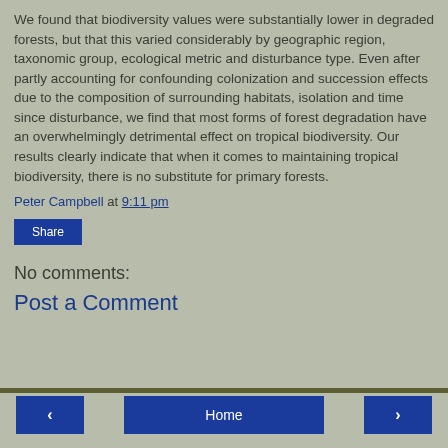We found that biodiversity values were substantially lower in degraded forests, but that this varied considerably by geographic region, taxonomic group, ecological metric and disturbance type. Even after partly accounting for confounding colonization and succession effects due to the composition of surrounding habitats, isolation and time since disturbance, we find that most forms of forest degradation have an overwhelmingly detrimental effect on tropical biodiversity. Our results clearly indicate that when it comes to maintaining tropical biodiversity, there is no substitute for primary forests.
Peter Campbell at 9:11 pm
Share
No comments:
Post a Comment
< Home >